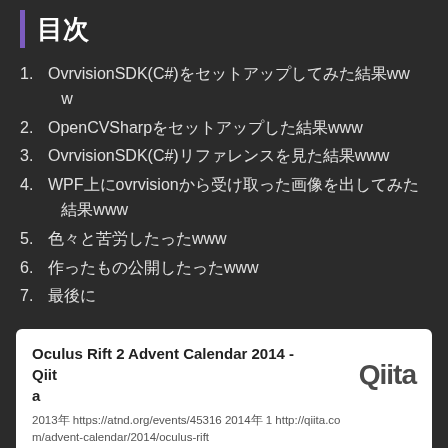目次
1. OvrvisionSDK(C#)をセットアップしてみた結果www
2. OpenCVSharpをセットアップした結果www
3. OvrvisionSDK(C#)リファレンスを見た結果www
4. WPF上にovrvisionから受け取った画像を出してみた結果www
5. 色々と苦労したったwww
6. 作ったもの公開したったwww
7. 最後に
Oculus Rift 2 Advent Calendar 2014 - Qiita
2013年 https://atnd.org/events/45316 2014年 1 http://qiita.com/advent-calendar/2014/oculus-rift
qiita.com  3 users